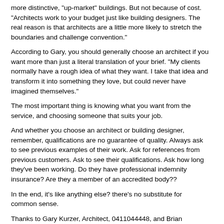more distinctive, "up-market" buildings. But not because of cost. "Architects work to your budget just like building designers. The real reason is that architects are a little more likely to stretch the boundaries and challenge convention."
According to Gary, you should generally choose an architect if you want more than just a literal translation of your brief. "My clients normally have a rough idea of what they want. I take that idea and transform it into something they love, but could never have imagined themselves."
The most important thing is knowing what you want from the service, and choosing someone that suits your job.
And whether you choose an architect or building designer, remember, qualifications are no guarantee of quality. Always ask to see previous examples of their work. Ask for references from previous customers. Ask to see their qualifications. Ask how long they've been working. Do they have professional indemnity insurance? Are they a member of an accredited body??
In the end, it's like anything else? there's no substitute for common sense.
Thanks to Gary Kurzer, Architect, 0411044448, and Brian Basford, Building Designer.
FAQs
Q: Are architects and building designers the same thing?
A: No. Architects must be registered with the Board of Architects of NSW.
Q: Will I get a better design from an architect?